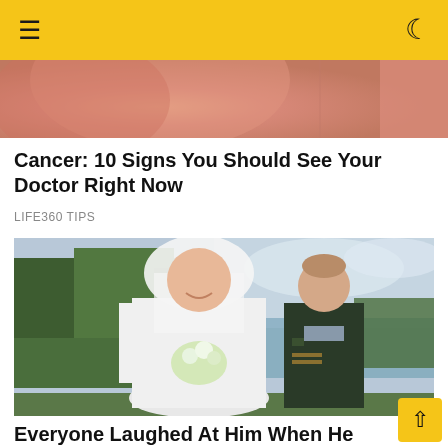☰  ☽
[Figure (photo): Partial top image showing skin-toned background, possibly a close-up medical or body photo with pinkish tones]
Cancer: 10 Signs You Should See Your Doctor Right Now
LIFE360 TIPS
[Figure (photo): Wedding photo of a bride in a white dress and veil holding white flowers, standing next to a groom in a dark military dress uniform, outdoors with trees and a lake in the background]
Everyone Laughed At Him When He Married H But Not Any More